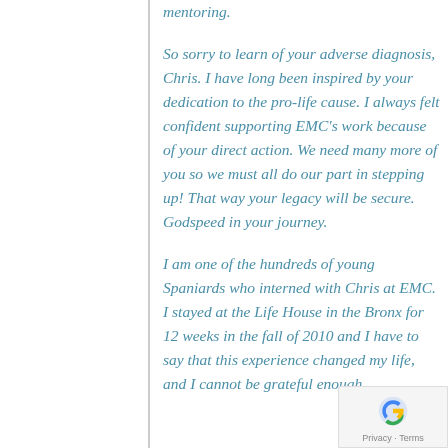mentoring.
So sorry to learn of your adverse diagnosis, Chris. I have long been inspired by your dedication to the pro-life cause. I always felt confident supporting EMC's work because of your direct action. We need many more of you so we must all do our part in stepping up! That way your legacy will be secure. Godspeed in your journey.
I am one of the hundreds of young Spaniards who interned with Chris at EMC. I stayed at the Life House in the Bronx for 12 weeks in the fall of 2010 and I have to say that this experience changed my life, and I cannot be grateful enough